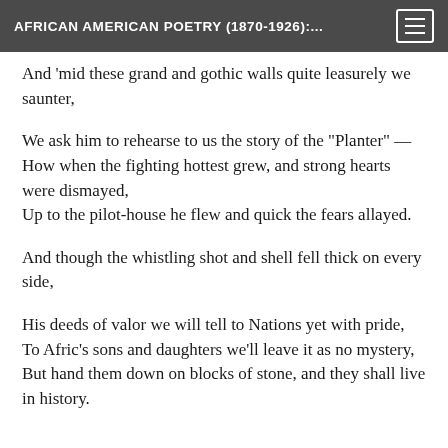AFRICAN AMERICAN POETRY (1870-1926):...
And 'mid these grand and gothic walls quite leasurely we saunter,
We ask him to rehearse to us the story of the "Planter" — How when the fighting hottest grew, and strong hearts were dismayed,
Up to the pilot-house he flew and quick the fears allayed.
And though the whistling shot and shell fell thick on every side,
His deeds of valor we will tell to Nations yet with pride,
To Afric's sons and daughters we'll leave it as no mystery,
But hand them down on blocks of stone, and they shall live in history.